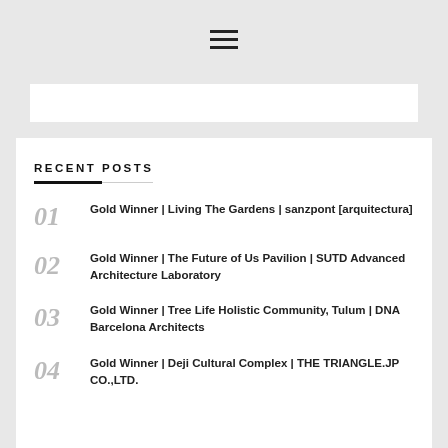[Figure (other): Hamburger menu icon with three horizontal lines]
RECENT POSTS
01 Gold Winner | Living The Gardens | sanzpont [arquitectura]
02 Gold Winner | The Future of Us Pavilion | SUTD Advanced Architecture Laboratory
03 Gold Winner | Tree Life Holistic Community, Tulum | DNA Barcelona Architects
04 Gold Winner | Deji Cultural Complex | THE TRIANGLE.JP CO.,LTD.